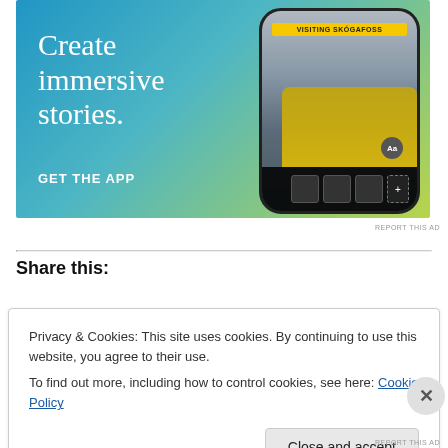[Figure (advertisement): App advertisement banner with blue-to-yellow-green gradient background. Left side shows white serif text 'Create immersive stories.' and bold sans-serif 'GET THE APP'. Right side shows a smartphone mockup displaying a waterfall scene (Skógafoss) with a person in a yellow jacket, a yellow label reading 'VISITING SKÓGAFOSS', and a bottom toolbar with thumbnail boxes.]
REPORT THIS AD
Share this:
Privacy & Cookies: This site uses cookies. By continuing to use this website, you agree to their use.
To find out more, including how to control cookies, see here: Cookie Policy
Close and accept